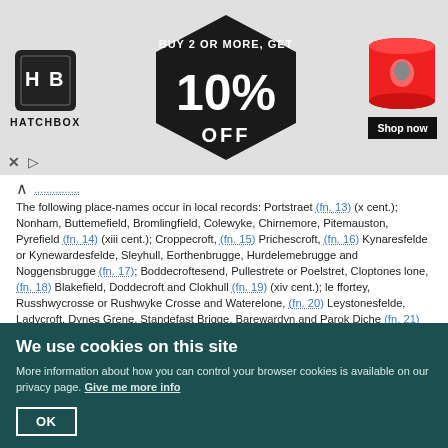[Figure (advertisement): Hatchbox 3D filament ad banner: Buy 2 or more, get 10% off. Shows Hatchbox logo, hexagonal graphic with '10% OFF', red filament spool, and Shop Now button.]
The following place-names occur in local records: Portstraet (fn. 13) (x cent.); Nonham, Buttemefield, Bromlingfield, Colewyke, Chirnemore, Pitemauston, Pyrefield (fn. 14) (xiii cent.); Croppecroft, (fn. 15) Prichescroft, (fn. 16) Kynaresfelde or Kynewardesfelde, Sleyhull, Eorthenbrugge, Hurdelemebrugge and Noggensbrugge (fn. 17); Boddecroftesend, Pullestrete or Poelstret, Cloptones lone, (fn. 18) Blakefield, Doddecroft and Clokhull (fn. 19) (xiv cent.); le ffortey, Russhwycrosse or Rushwyke Crosse and Waterelone, (fn. 20) Leystonesfelde, Ladycroft, Dynes Grene, Standefast Brigge, Barewardyn and Parok Diche (fn. 21) (xv cent.); Kychyns, Moncke Orchard, Le Mytre, Leighton Corte (fn. 22) (xvi cent.); Pool Close and Sling Meadow (fn. 23) (xvii cent.).
MANORS
The manor of WICK EPISCOPI...
We use cookies on this site
More information about how you can control your browser cookies is available on our privacy page. Give me more info
OK